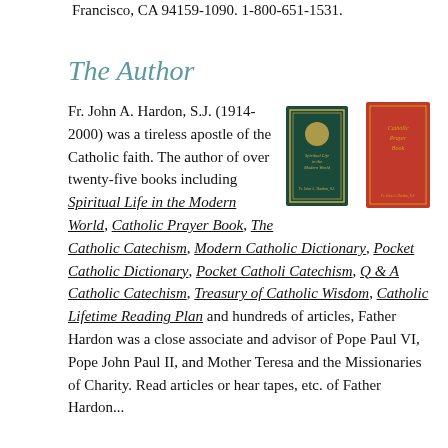Francisco, CA 94159-1090. 1-800-651-1531.
The Author
[Figure (photo): Two book covers side by side: 'Spiritual Life in the Modern World' (dark green cover) and 'Catholic Prayer Book' (red cover).]
Fr. John A. Hardon, S.J. (1914-2000) was a tireless apostle of the Catholic faith. The author of over twenty-five books including Spiritual Life in the Modern World, Catholic Prayer Book, The Catholic Catechism, Modern Catholic Dictionary, Pocket Catholic Dictionary, Pocket Catholi Catechism, Q & A Catholic Catechism, Treasury of Catholic Wisdom, Catholic Lifetime Reading Plan and hundreds of articles, Father Hardon was a close associate and advisor of Pope Paul VI, Pope John Paul II, and Mother Teresa and the Missionaries of Charity. Read articles or hear tapes, etc. of Father Hardon...